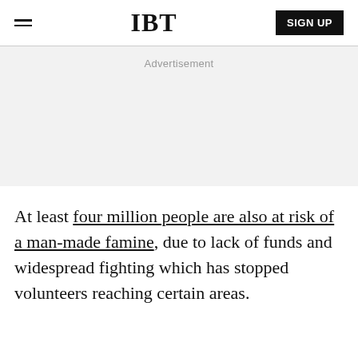IBT | SIGN UP
Advertisement
At least four million people are also at risk of a man-made famine, due to lack of funds and widespread fighting which has stopped volunteers reaching certain areas.